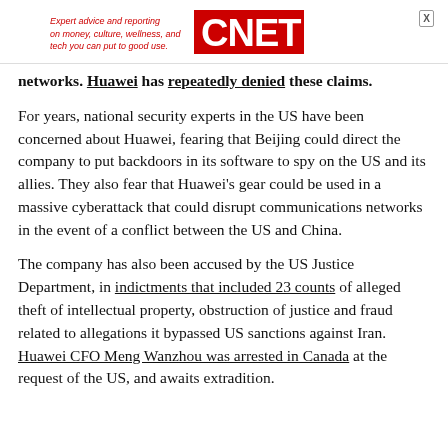Expert advice and reporting on money, culture, wellness, and tech you can put to good use. CNET
networks. Huawei has repeatedly denied these claims.
For years, national security experts in the US have been concerned about Huawei, fearing that Beijing could direct the company to put backdoors in its software to spy on the US and its allies. They also fear that Huawei's gear could be used in a massive cyberattack that could disrupt communications networks in the event of a conflict between the US and China.
The company has also been accused by the US Justice Department, in indictments that included 23 counts of alleged theft of intellectual property, obstruction of justice and fraud related to allegations it bypassed US sanctions against Iran. Huawei CFO Meng Wanzhou was arrested in Canada at the request of the US, and awaits extradition.